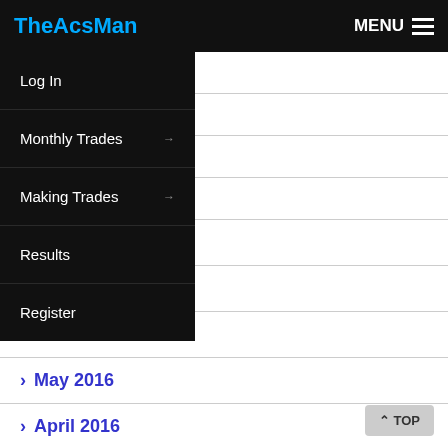TheAcsMan | MENU
> 2016
> 2016
> 16
> 2016
> August 2016
> July 2016
> June 2016
> May 2016
> April 2016
> March 2016
> February 2016